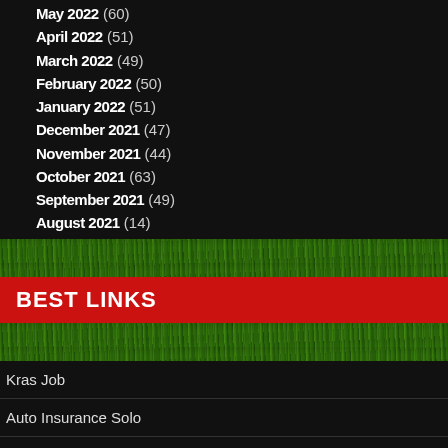May 2022 (60)
April 2022 (51)
March 2022 (49)
February 2022 (50)
January 2022 (51)
December 2021 (47)
November 2021 (44)
October 2021 (63)
September 2021 (49)
August 2021 (14)
[Figure (photo): Green grass texture strip]
BEST LINKS
[Figure (photo): Green grass texture strip]
Kras Job
Auto Insurance Solo
Accords Land